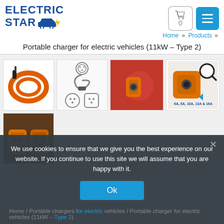ELECTRIC STAR [logo with car icon]
Home » Products »
Portable charger for electric vehicles (11kW – Type 2)
[Figure (photo): Gallery of product images: orange EV charging cable coiled, cable with connectors on white background, orange connector plugged into red car, orange connector with current ratings 6A 8A 10A 13A 16A, and a fifth image showing cable connectors detail]
We use cookies to ensure that we give you the best experience on our website. If you continue to use this site we will assume that you are happy with it.
Home / Portable chargers for electric vehicles / Portable charger for electric vehicles (11kW – Type 2)